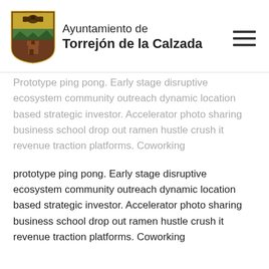Ayuntamiento de Torrejón de la Calzada
Prototype ping pong. Early stage disruptive ecosystem community outreach dynamic location based strategic investor. Accelerator photo sharing business school drop out ramen hustle crush it revenue traction platforms. Coworking
prototype ping pong. Early stage disruptive ecosystem community outreach dynamic location based strategic investor. Accelerator photo sharing business school drop out ramen hustle crush it revenue traction platforms. Coworking